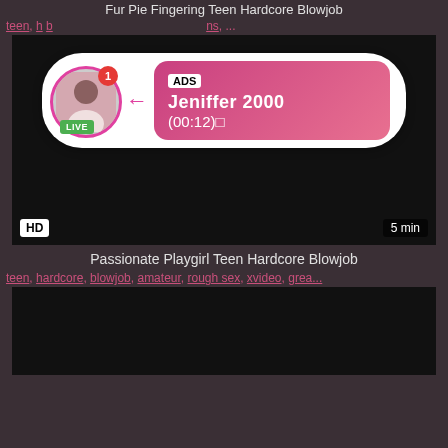Fur Pie Fingering Teen Hardcore Blowjob
teen, hardcore, blowjob, amateur, rough sex, xvideo, bruins, ...
[Figure (screenshot): Dark video player area with HD badge and 5 min duration badge, with an ADS overlay popup showing a live user profile (Jeniffer 2000, 00:12, LIVE badge)]
Passionate Playgirl Teen Hardcore Blowjob
teen, hardcore, blowjob, amateur, rough sex, xvideo, grea...
[Figure (screenshot): Dark video player area (second video, partially visible)]